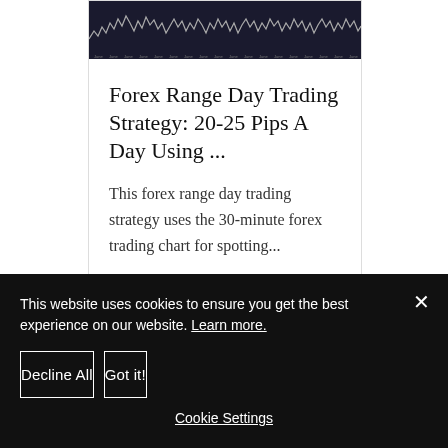[Figure (continuous-plot): A dark background forex trading chart showing price movement waveforms with date labels along the bottom axis]
Forex Range Day Trading Strategy: 20-25 Pips A Day Using ...
This forex range day trading strategy uses the 30-minute forex trading chart for spotting...
This website uses cookies to ensure you get the best experience on our website. Learn more.
Decline All
Got it!
Cookie Settings